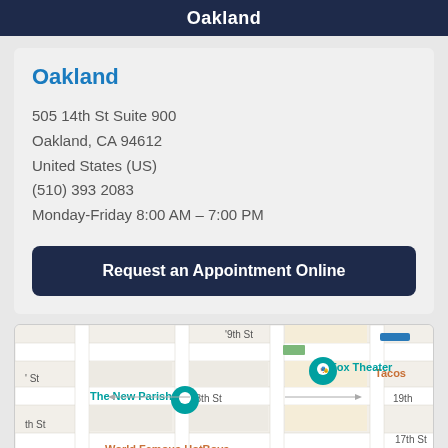Oakland
Oakland
505 14th St Suite 900
Oakland, CA 94612
United States (US)
(510) 393 2083
Monday-Friday 8:00 AM – 7:00 PM
Request an Appointment Online
[Figure (map): Street map of Oakland near 18th St and 19th St showing Fox Theater, The New Parish, and World Famous HotBoys landmarks with map pins]